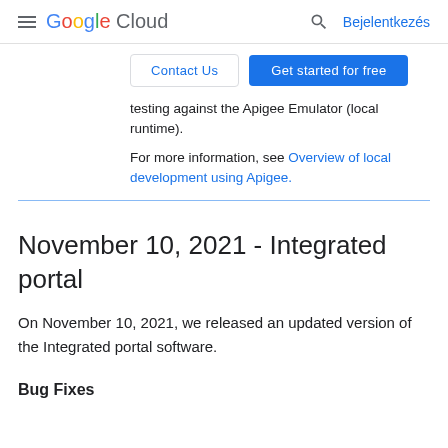Google Cloud  Bejelentkezés
testing against the Apigee Emulator (local runtime).
For more information, see Overview of local development using Apigee.
November 10, 2021 - Integrated portal
On November 10, 2021, we released an updated version of the Integrated portal software.
Bug Fixes